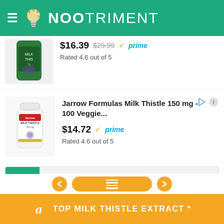[Figure (logo): NooTriment website header with green background, hamburger menu, light bulb logo icon, and NOOTRIMENT text in white]
[Figure (screenshot): Partially visible product listing: Milk Thistle supplement bottle, price $16.39 (was $29.99), Amazon Prime badge, Rated 4.6 out of 5]
[Figure (screenshot): Jarrow Formulas Milk Thistle 150 mg - 100 Veggie... product listing with white bottle image]
Jarrow Formulas Milk Thistle 150 mg - 100 Veggie...
$14.72  prime  Rated 4.6 out of 5
References
[Figure (screenshot): Amazon affiliate bottom bar in orange with 'a' Amazon logo and text: TOP MILK THISTLE EXTRACT *]